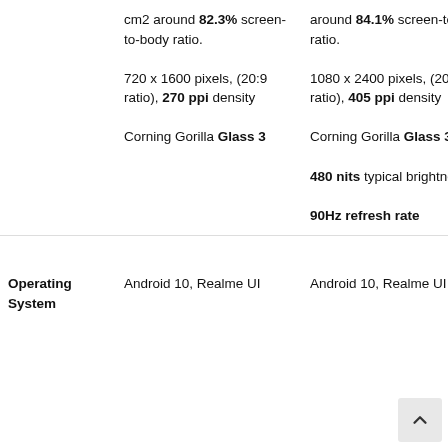|  | Column 1 | Column 2 |
| --- | --- | --- |
|  | cm2 around 82.3% screen-to-body ratio.
720 x 1600 pixels, (20:9 ratio), 270 ppi density
Corning Gorilla Glass 3 | around 84.1% screen-to-body ratio.
1080 x 2400 pixels, (20:9 ratio), 405 ppi density
Corning Gorilla Glass 3
480 nits typical brightness
90Hz refresh rate |
| Operating System | Android 10, Realme UI | Android 10, Realme UI |